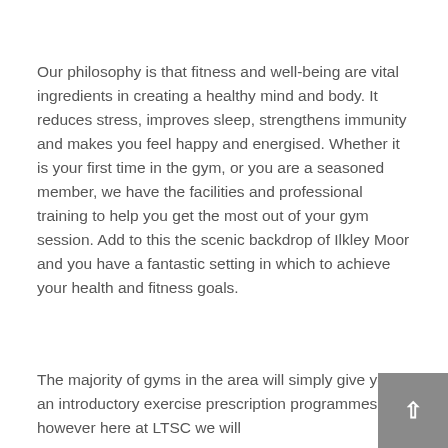Our philosophy is that fitness and well-being are vital ingredients in creating a healthy mind and body. It reduces stress, improves sleep, strengthens immunity and makes you feel happy and energised. Whether it is your first time in the gym, or you are a seasoned member, we have the facilities and professional training to help you get the most out of your gym session. Add to this the scenic backdrop of Ilkley Moor and you have a fantastic setting in which to achieve your health and fitness goals.
The majority of gyms in the area will simply give you an introductory exercise prescription programmes; however here at LTSC we will